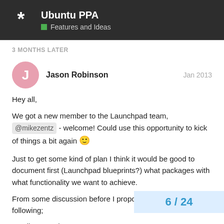Ubuntu PPA — Features and Ideas
3 MONTHS LATER
Jason Robinson — Jan 2013
Hey all,
We got a new member to the Launchpad team, @mikezentz - welcome! Could use this opportunity to kick of things a bit again 🙂
Just to get some kind of plan I think it would be good to document first (Launchpad blueprints?) what packages with what functionality we want to achieve.
From some discussion before I propose something like the following;
1. diaspora-dev
6 / 24